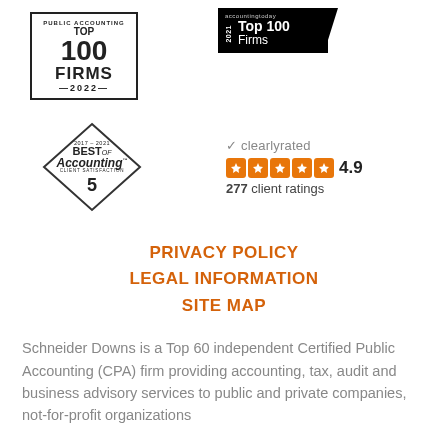[Figure (logo): Public Accounting Top 100 Firms 2022 logo with border]
[Figure (logo): Accounting Today 2021 Top 100 Firms logo on black background]
[Figure (logo): Best of Accounting 2017-2021 Client Satisfaction diamond badge with 5 years]
[Figure (logo): ClearlyRated logo with 4.9 star rating and 277 client ratings]
PRIVACY POLICY
LEGAL INFORMATION
SITE MAP
Schneider Downs is a Top 60 independent Certified Public Accounting (CPA) firm providing accounting, tax, audit and business advisory services to public and private companies, not-for-profit organizations